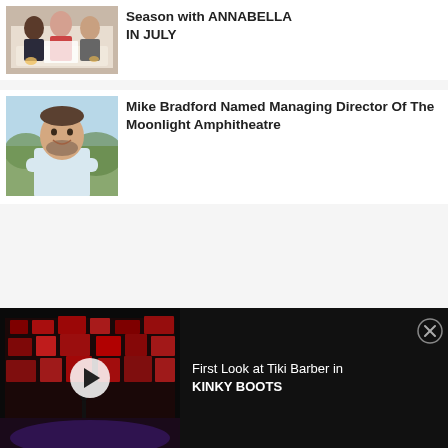[Figure (photo): Group of people sitting at a table reading scripts, with food visible]
Season with ANNABELLA IN JULY
[Figure (photo): Man in light blue sweater smiling with arms crossed outdoors]
Mike Bradford Named Managing Director Of The Moonlight Amphitheatre
[Figure (photo): Dark stage scene from Kinky Boots with red lighting and set pieces, video thumbnail with play button]
First Look at Tiki Barber in KINKY BOOTS